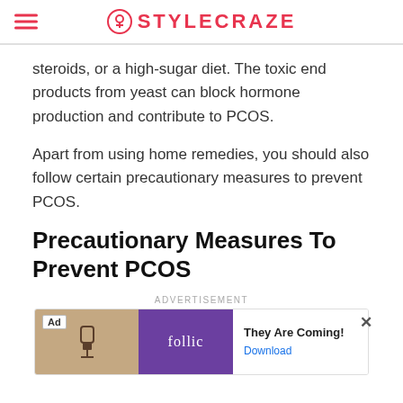STYLECRAZE
steroids, or a high-sugar diet. The toxic end products from yeast can block hormone production and contribute to PCOS.
Apart from using home remedies, you should also follow certain precautionary measures to prevent PCOS.
Precautionary Measures To Prevent PCOS
[Figure (other): Advertisement banner for Follic app with text 'They Are Coming!' and a Download button]